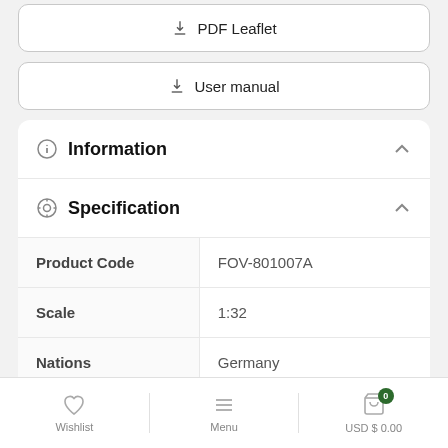PDF Leaflet
User manual
Information
Specification
|  |  |
| --- | --- |
| Product Code | FOV-801007A |
| Scale | 1:32 |
| Nations | Germany |
| Campaign | #234, 3 Kompanie, |
Wishlist   Menu   USD $ 0.00